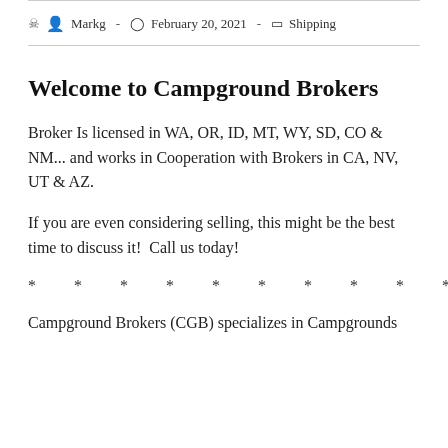Markg  -  February 20, 2021  -  Shipping
Welcome to Campground Brokers
Broker Is licensed in WA, OR, ID, MT, WY, SD, CO & NM... and works in Cooperation with Brokers in CA, NV, UT & AZ.
If you are even considering selling, this might be the best time to discuss it!  Call us today!
* * * * * * * * * *
Campground Brokers (CGB) specializes in Campgrounds and works in Cooperation with Brokers in CA, NV, UT &